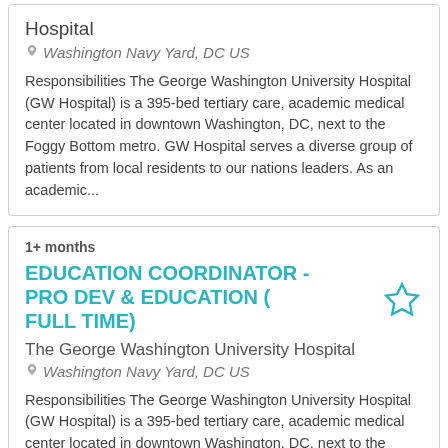Hospital
Washington Navy Yard, DC US
Responsibilities The George Washington University Hospital (GW Hospital) is a 395-bed tertiary care, academic medical center located in downtown Washington, DC, next to the Foggy Bottom metro. GW Hospital serves a diverse group of patients from local residents to our nations leaders. As an academic...
1+ months
EDUCATION COORDINATOR - PRO DEV & EDUCATION ( FULL TIME)
The George Washington University Hospital
Washington Navy Yard, DC US
Responsibilities The George Washington University Hospital (GW Hospital) is a 395-bed tertiary care, academic medical center located in downtown Washington, DC, next to the Foggy Bottom metro. GW...